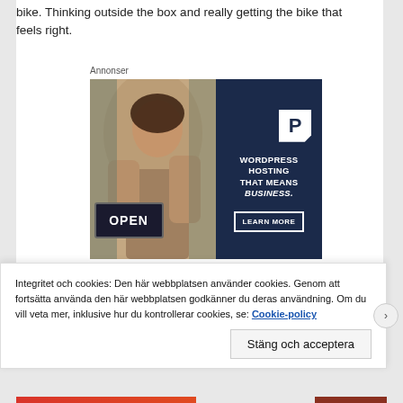bike. Thinking outside the box and really getting the bike that feels right.
Annonser
[Figure (photo): Advertisement banner for WordPress Hosting with a photo of a woman holding an OPEN sign on the left and dark navy panel on the right with text: WORDPRESS HOSTING THAT MEANS BUSINESS. and a LEARN MORE button, plus a P logo.]
Integritet och cookies: Den här webbplatsen använder cookies. Genom att fortsätta använda den här webbplatsen godkänner du deras användning. Om du vill veta mer, inklusive hur du kontrollerar cookies, se: Cookie-policy